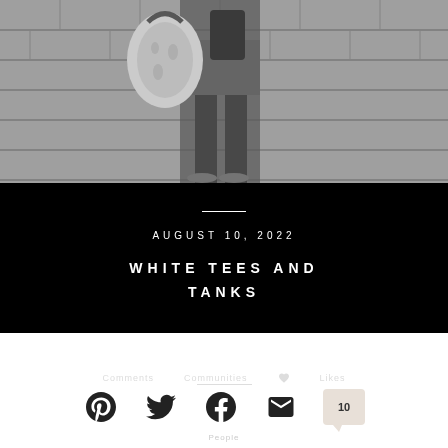[Figure (photo): Black and white photo of a person carrying a white woven tote bag, wearing sandals, walking on a brick/cobblestone surface. Only lower body and bag visible.]
AUGUST 10, 2022
WHITE TEES AND TANKS
Comments  Communities  Likes
[Figure (infographic): Social sharing icons row: Pinterest, Twitter, Facebook, Email icons, plus a comment bubble showing 10]
People